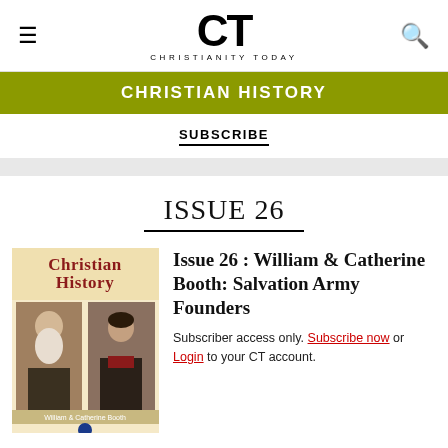CT CHRISTIANITY TODAY
CHRISTIAN HISTORY
SUBSCRIBE
ISSUE 26
[Figure (illustration): Cover of Christian History magazine Issue 26 featuring William & Catherine Booth with portraits of an elderly bearded man and a Victorian woman]
Issue 26 : William & Catherine Booth: Salvation Army Founders
Subscriber access only. Subscribe now or Login to your CT account.